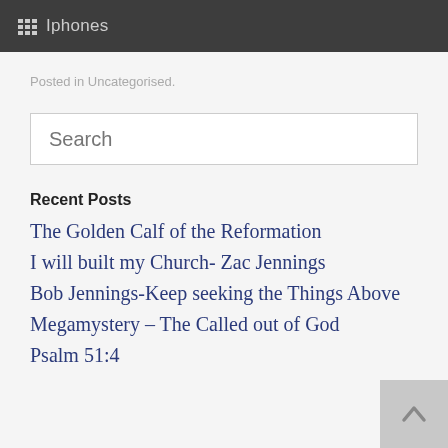Iphones
Posted in Uncategorised.
Search
Recent Posts
The Golden Calf of the Reformation
I will built my Church- Zac Jennings
Bob Jennings-Keep seeking the Things Above
Megamystery – The Called out of God
Psalm 51:4